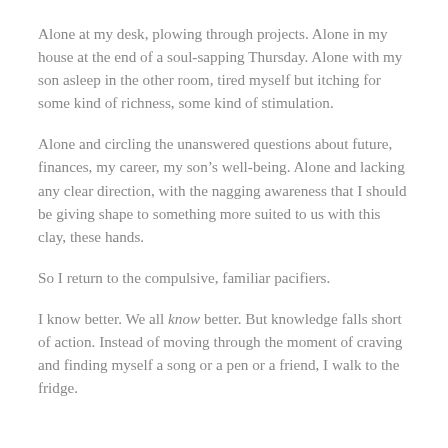Alone at my desk, plowing through projects. Alone in my house at the end of a soul-sapping Thursday. Alone with my son asleep in the other room, tired myself but itching for some kind of richness, some kind of stimulation.
Alone and circling the unanswered questions about future, finances, my career, my son’s well-being. Alone and lacking any clear direction, with the nagging awareness that I should be giving shape to something more suited to us with this clay, these hands.
So I return to the compulsive, familiar pacifiers.
I know better. We all know better. But knowledge falls short of action. Instead of moving through the moment of craving and finding myself a song or a pen or a friend, I walk to the fridge.